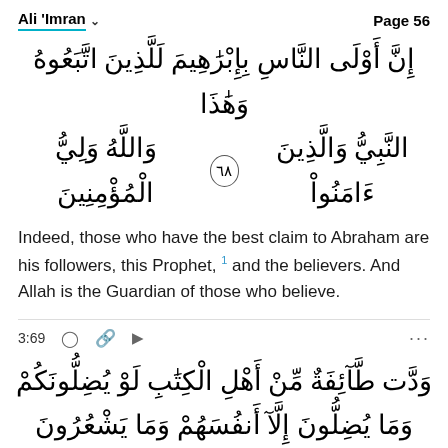Ali 'Imran   Page 56
إِنَّ أَوْلَى النَّاسِ بِإِبْرَٰهِيمَ لَلَّذِينَ اتَّبَعُوهُ وَهَٰذَا النَّبِيُّ وَالَّذِينَ ءَامَنُواْ وَاللَّهُ وَلِيُّ الْمُؤْمِنِينَ ٦٨
Indeed, those who have the best claim to Abraham are his followers, this Prophet, 1 and the believers. And Allah is the Guardian of those who believe.
3:69
وَدَّت طَّآئِفَةٌ مِّنْ أَهْلِ الْكِتَٰبِ لَوْ يُضِلُّونَكُمْ وَمَا يُضِلُّونَ إِلَّآ أَنفُسَهُمْ وَمَا يَشْعُرُونَ